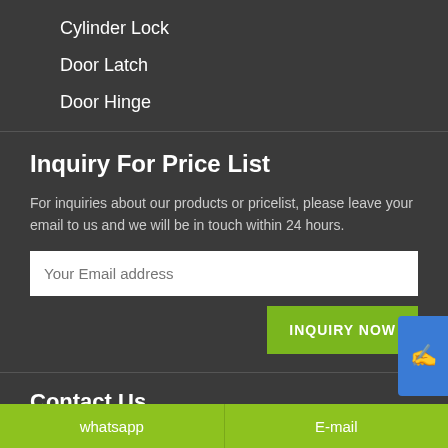Cylinder Lock
Door Latch
Door Hinge
Inquiry For Price List
For inquiries about our products or pricelist, please leave your email to us and we will be in touch within 24 hours.
Contact Us
4 building, Poly International Plaza, Jiangmen City, Guangdong Province, China
whatsapp   E-mail